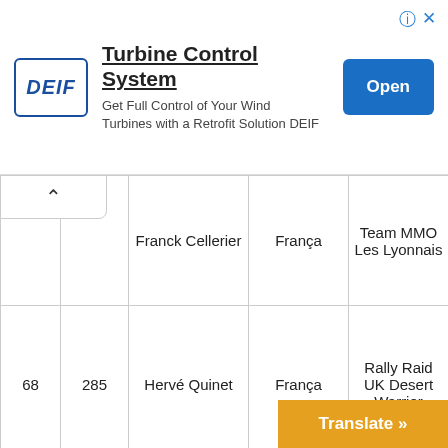[Figure (infographic): DEIF advertisement banner: Turbine Control System. Logo on left, title and subtitle text in center, blue Open button on right. Info and close icons top right.]
|  |  | Name | Country | Team |
| --- | --- | --- | --- | --- |
|  |  | Franck Cellerier | França | Team MMO Les Lyonnais |
| 68 | 285 | Hervé Quinet | França | Rally Raid UK Desert Warrior |
|  |  | Marie-Laure Quinet | França | Clérimois Auto Sport |
| 69 | 295 | Marco Piana | França | Toyota Land Cruiser |
|  |  |  |  |  |